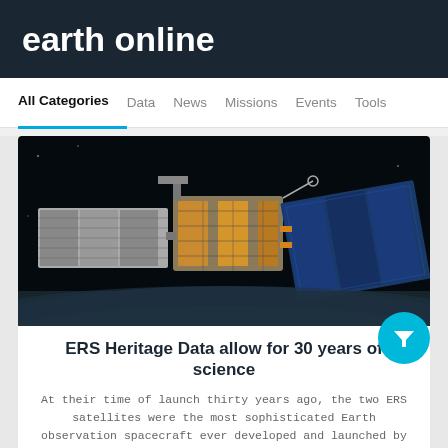earth online
All Categories  Data  News  Missions  Events  Tools
[Figure (photo): Photograph of an ERS satellite in orbit above Earth, showing solar panels and instrument structure against a dark space background with Earth's surface visible below.]
ERS Heritage Data allow for 30 years of science
At their time of launch thirty years ago, the two ERS satellites were the most sophisticated Earth observation spacecraft ever developed and launched by Europe.
News - General News